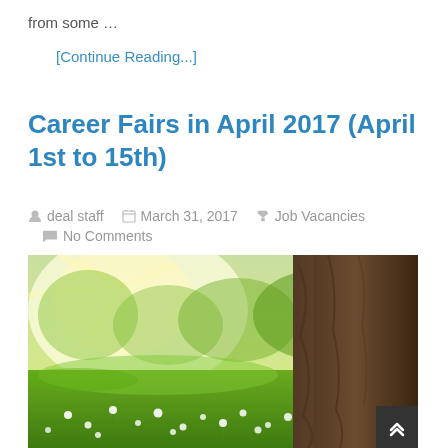from some …
[Continue Reading...]
Career Fairs in April 2017 (April 1st to 15th)
deal staff   March 31, 2017   Job Vacancies   No Comments
[Figure (photo): Outdoor nature photo showing a sunny green meadow with white wildflowers and a large tree trunk on the right side, bright sunlight streaming through trees in the background.]